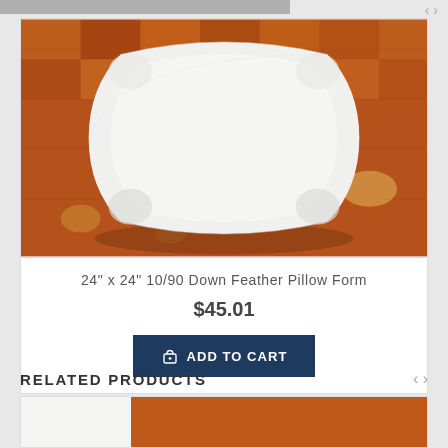[Figure (photo): White square down feather pillow form photographed on a dark wood parquet floor background]
24" x 24" 10/90 Down Feather Pillow Form
$45.01
ADD TO CART
RELATED PRODUCTS